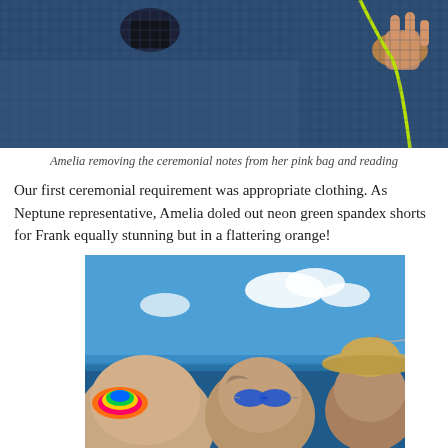[Figure (photo): Two photos side by side: left shows blue mesh/net material with a dark object, right shows a hand holding yellow/green cord against blue mesh material]
Amelia removing the ceremonial notes from her pink bag and reading
Our first ceremonial requirement was appropriate clothing. As Neptune representative, Amelia doled out neon green spandex shorts for Frank equally stunning but in a flattering orange!
[Figure (photo): Three people on a boat at sea: left person wearing colorful rainbow sunglasses, middle person wearing blue sunglasses, right person wearing a straw hat, blue sky with clouds in background]